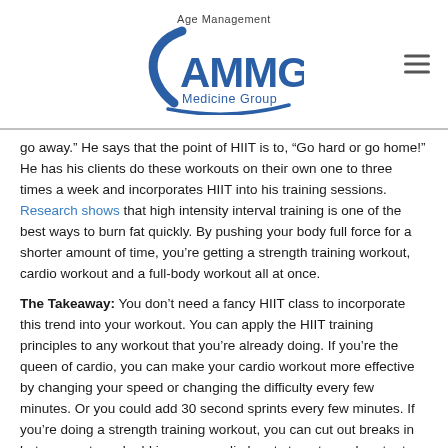Age Management Medicine Group (AMMG) logo with hamburger menu
go away.” He says that the point of HIIT is to, “Go hard or go home!” He has his clients do these workouts on their own one to three times a week and incorporates HIIT into his training sessions. Research shows that high intensity interval training is one of the best ways to burn fat quickly. By pushing your body full force for a shorter amount of time, you’re getting a strength training workout, cardio workout and a full-body workout all at once.
The Takeaway: You don’t need a fancy HIIT class to incorporate this trend into your workout. You can apply the HIIT training principles to any workout that you’re already doing. If you’re the queen of cardio, you can make your cardio workout more effective by changing your speed or changing the difficulty every few minutes. Or you could add 30 second sprints every few minutes. If you’re doing a strength training workout, you can cut out breaks in between sets and add in some cardio bursts to get your heart rate up. If you’re looking to spice up